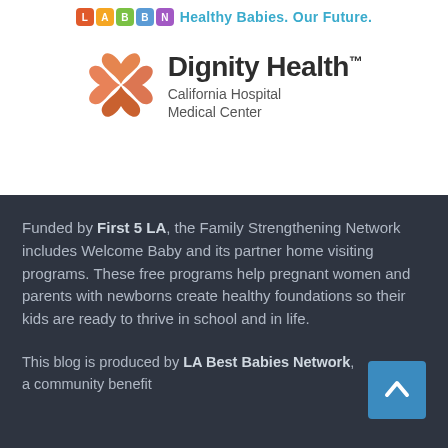[Figure (logo): LABBN colored letter blocks logo with tagline 'Healthy Babies. Our Future.']
[Figure (logo): Dignity Health California Hospital Medical Center logo with orange flower graphic]
Funded by First 5 LA, the Family Strengthening Network includes Welcome Baby and its partner home visiting programs. These free programs help pregnant women and parents with newborns create healthy foundations so their kids are ready to thrive in school and in life.
This blog is produced by LA Best Babies Network, a community benefit